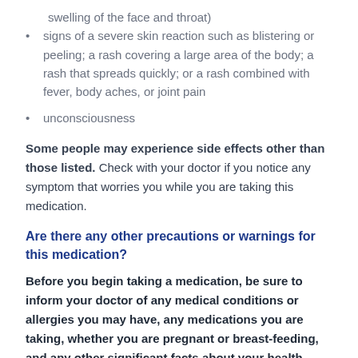swelling of the face and throat)
signs of a severe skin reaction such as blistering or peeling; a rash covering a large area of the body; a rash that spreads quickly; or a rash combined with fever, body aches, or joint pain
unconsciousness
Some people may experience side effects other than those listed. Check with your doctor if you notice any symptom that worries you while you are taking this medication.
Are there any other precautions or warnings for this medication?
Before you begin taking a medication, be sure to inform your doctor of any medical conditions or allergies you may have, any medications you are taking, whether you are pregnant or breast-feeding, and any other significant facts about your health. These factors may affect how you should take this